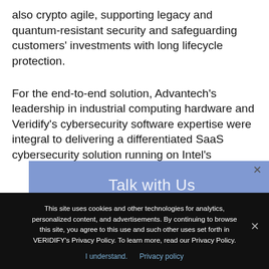also crypto agile, supporting legacy and quantum-resistant security and safeguarding customers' investments with long lifecycle protection.
For the end-to-end solution, Advantech's leadership in industrial computing hardware and Veridify's cybersecurity software expertise were integral to delivering a differentiated SaaS cybersecurity solution running on Intel's
[Figure (other): Blue semi-transparent 'Talk with Us' modal overlay with close button (×) in top right corner]
This site uses cookies and other technologies for analytics, personalized content, and advertisements. By continuing to browse this site, you agree to this use and such other uses set forth in VERIDIFY's Privacy Policy. To learn more, read our Privacy Policy.
I understand.    Privacy policy